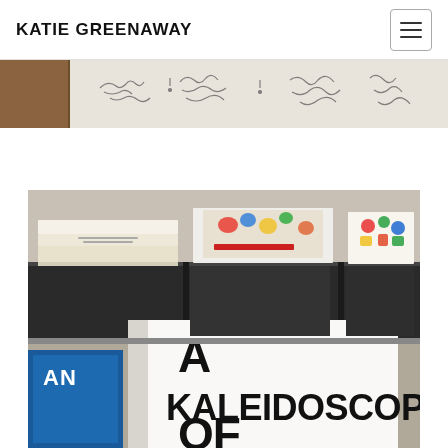KATIE GREENAWAY
[Figure (photo): Partial photo strip showing handwriting/cursive text on a whiteboard or paper background, with a dark wooden surface visible on the left edge]
[Figure (photo): Photo of books at a sale or display table. Multiple books stacked and standing, with the foreground showing a white book cover with large bold black text reading 'A KALEIDOSCOPE OF'. Other books visible include colorful covers. Books are arranged in boxes on a table.]